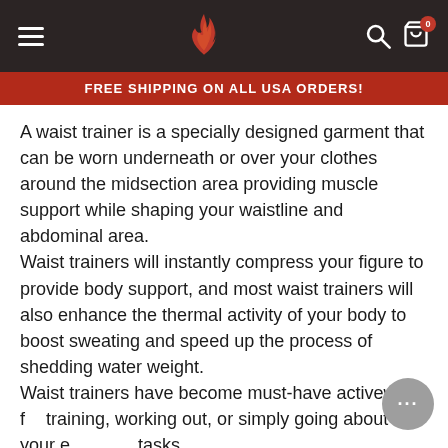Navigation header with hamburger menu, flame logo, search icon, and cart icon with badge 0
FREE SHIPPING ON ALL USA ORDERS!
A waist trainer is a specially designed garment that can be worn underneath or over your clothes around the midsection area providing muscle support while shaping your waistline and abdominal area.
Waist trainers will instantly compress your figure to provide body support, and most waist trainers will also enhance the thermal activity of your body to boost sweating and speed up the process of shedding water weight.
Waist trainers have become must-have activewear for training, working out, or simply going about your everyday tasks.